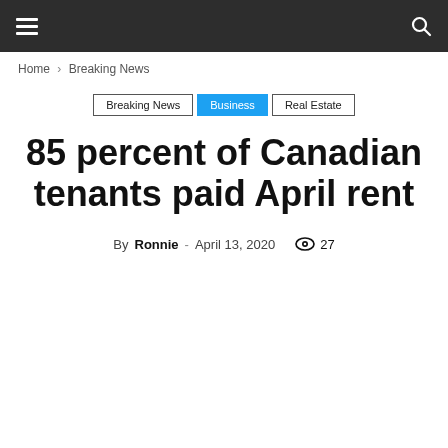Navigation bar with hamburger menu and search icon
Home › Breaking News
Breaking News | Business | Real Estate
85 percent of Canadian tenants paid April rent
By Ronnie - April 13, 2020  27